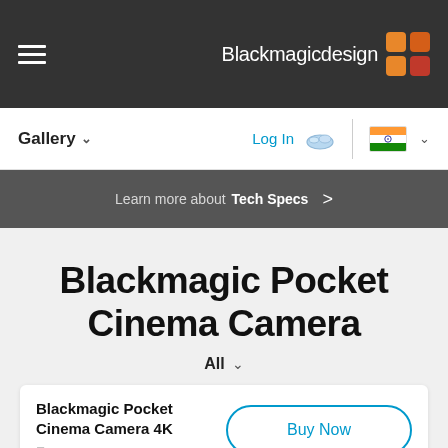Blackmagicdesign navigation header with hamburger menu and logo
Gallery    Log In    India flag
Learn more about Tech Specs >
Blackmagic Pocket Cinema Camera
All
Blackmagic Pocket Cinema Camera 4K  ₹ 1,19,800  Buy Now